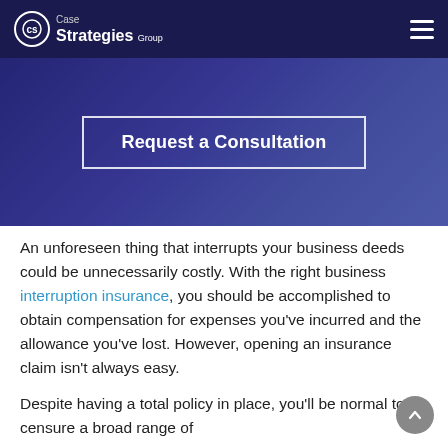Case Strategies Group
[Figure (other): Blue gradient hero banner with a 'Request a Consultation' button outlined in white]
An unforeseen thing that interrupts your business deeds could be unnecessarily costly. With the right business interruption insurance, you should be accomplished to obtain compensation for expenses you've incurred and the allowance you've lost. However, opening an insurance claim isn't always easy.
Despite having a total policy in place, you'll be normal to censure a broad range of